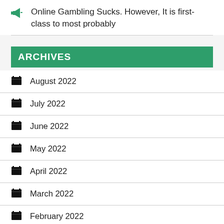Online Gambling Sucks. However, It is first-class to most probably
ARCHIVES
August 2022
July 2022
June 2022
May 2022
April 2022
March 2022
February 2022